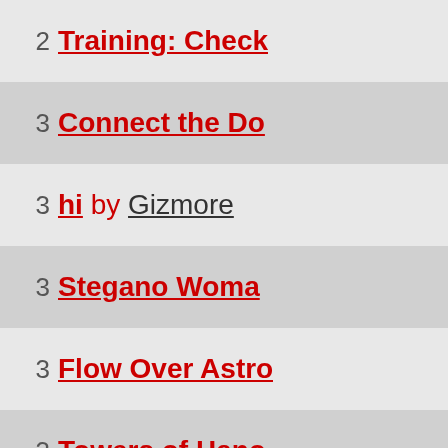2 Training: Check
3 Connect the Do
3 hi by Gizmore
3 Stegano Woma
3 Flow Over Astro
3 Towers of Hano
3 Enlightment by
3 Simply Red by a
3 htmlspecialchar
3 Impossible n'es
3 PHP 0815 by Giz
3 Guesswork by G
3 No Escape by G